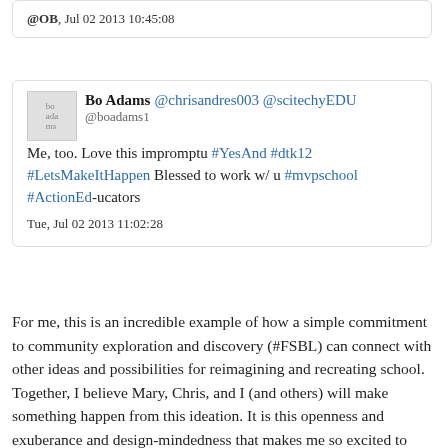@OB, Jul 02 2013 10:45:08
[Figure (screenshot): Tweet card from Bo Adams (@boadams1) mentioning @chrisandres003 @scitechyEDU: 'Me, too. Love this impromptu #YesAnd #dtk12 #LetsMakeItHappen Blessed to work w/ u #mvpschool #ActionEd-ucators' Tue, Jul 02 2013 11:02:28]
For me, this is an incredible example of how a simple commitment to community exploration and discovery (#FSBL) can connect with other ideas and possibilities for reimagining and recreating school. Together, I believe Mary, Chris, and I (and others) will make something happen from this ideation. It is this openness and exuberance and design-mindedness that makes me so excited to work with